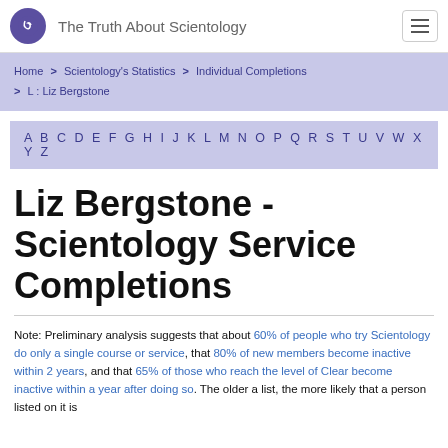The Truth About Scientology
Home > Scientology's Statistics > Individual Completions > L : Liz Bergstone
A B C D E F G H I J K L M N O P Q R S T U V W X Y Z
Liz Bergstone - Scientology Service Completions
Note: Preliminary analysis suggests that about 60% of people who try Scientology do only a single course or service, that 80% of new members become inactive within 2 years, and that 65% of those who reach the level of Clear become inactive within a year after doing so. The older a list, the more likely that a person listed on it is